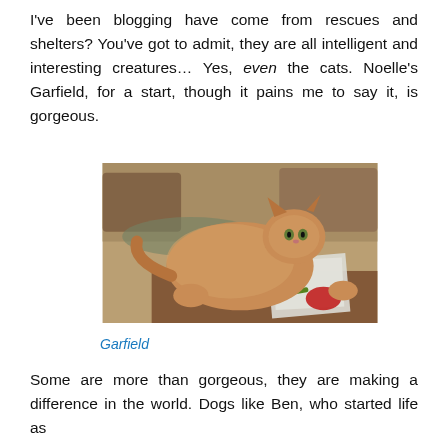I've been blogging have come from rescues and shelters? You've got to admit, they are all intelligent and interesting creatures… Yes, even the cats. Noelle's Garfield, for a start, though it pains me to say it, is gorgeous.
[Figure (photo): A large fluffy orange/ginger cat lying sprawled on a wooden desk or table, surrounded by papers, a pen, and a red computer mouse. A leather couch and a rug are visible in the background.]
Garfield
Some are more than gorgeous, they are making a difference in the world. Dogs like Ben, who started life as